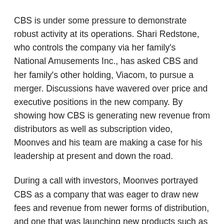CBS is under some pressure to demonstrate robust activity at its operations. Shari Redstone, who controls the company via her family's National Amusements Inc., has asked CBS and her family's other holding, Viacom, to pursue a merger. Discussions have wavered over price and executive positions in the new company. By showing how CBS is generating new revenue from distributors as well as subscription video, Moonves and his team are making a case for his leadership at present and down the road.
During a call with investors, Moonves portrayed CBS as a company that was eager to draw new fees and revenue from newer forms of distribution, and one that was launching new products such as a streaming-video sports news outlet.